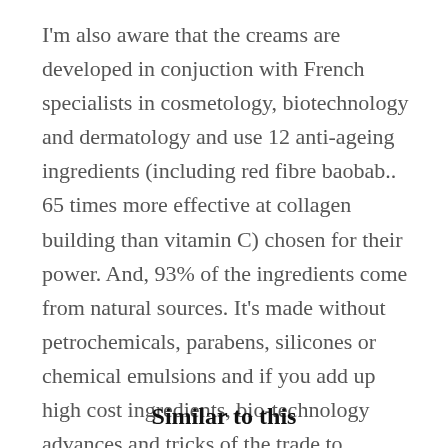I'm also aware that the creams are developed in conjuction with French specialists in cosmetology, biotechnology and dermatology and use 12 anti-ageing ingredients (including red fibre baobab.. 65 times more effective at collagen building than vitamin C) chosen for their power. And, 93% of the ingredients come from natural sources. It's made without petrochemicals, parabens, silicones or chemical emulsions and if you add up high cost ingredients, bio-technology advances and tricks of the trade to eliminate any nasties, I can see why it adds up to such a lot.
Similar to this